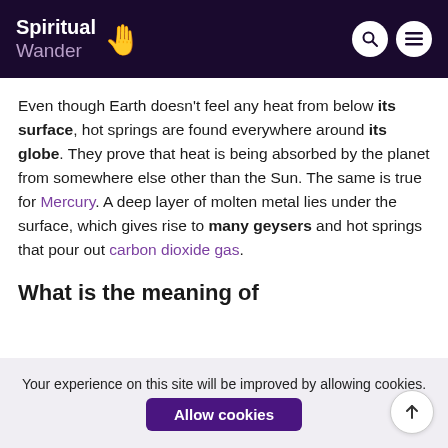Spiritual Wander
Even though Earth doesn't feel any heat from below its surface, hot springs are found everywhere around its globe. They prove that heat is being absorbed by the planet from somewhere else other than the Sun. The same is true for Mercury. A deep layer of molten metal lies under the surface, which gives rise to many geysers and hot springs that pour out carbon dioxide gas.
What is the meaning of
Your experience on this site will be improved by allowing cookies.